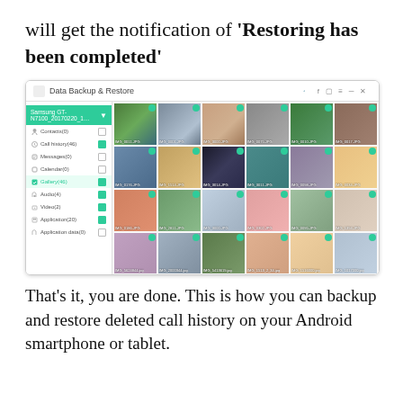will get the notification of 'Restoring has been completed'
[Figure (screenshot): Screenshot of Data Backup & Restore application showing a photo gallery with 24 images selected. Left sidebar shows Samsung GT-N7100 device with options: Contacts(0), Call History(46), Messages(0), Calendar(0), Gallery(46), Audio(4), Video(2), Application(20), Application data(0). Bottom status bar shows 'Samsung GT-N7100 is connected!' and 'You have selected 256.71MB in 199 items.' with Back and Restore buttons.]
That's it, you are done. This is how you can backup and restore deleted call history on your Android smartphone or tablet.